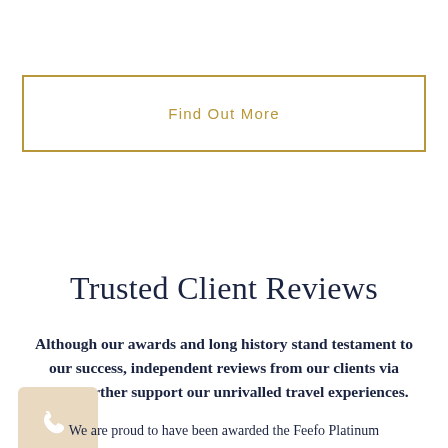Find Out More
Trusted Client Reviews
Although our awards and long history stand testament to our success, independent reviews from our clients via Feefo further support our unrivalled travel experiences.
We are proud to have been awarded the Feefo Platinum